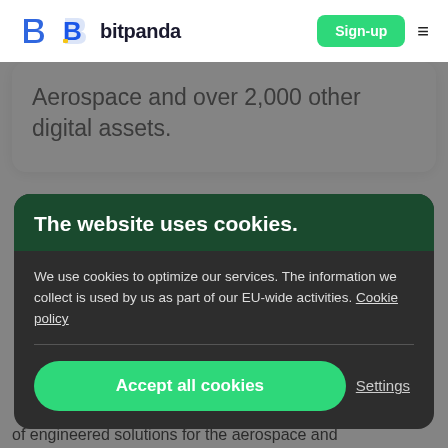bitpanda | Sign-up
Aerospace and over 2,000 other digital assets.
The website uses cookies.
We use cookies to optimize our services. The information we collect is used by us as part of our EU-wide activities. Cookie policy
Accept all cookies
Settings
of engineered solutions for the aerospace and